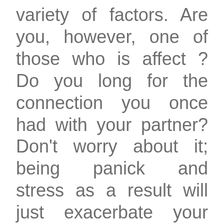variety of factors. Are you, however, one of those who is affect ? Do you long for the connection you once had with your partner? Don't worry about it; being panick and stress as a result will just exacerbate your situation. Because doctors advise you in the right direction and prepare proper medication for your Erectile Dysfunction, medication is the fastest way to cure erectile dysfunction. It is a widespread disease that affects a large